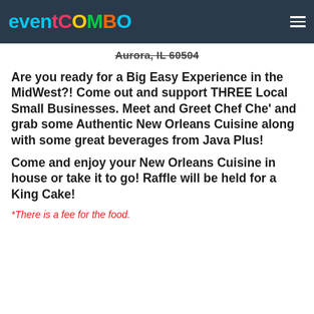[Figure (logo): EventCombo logo with colorful letters on dark navy header bar]
Aurora, IL 60504
Are you ready for a Big Easy Experience in the MidWest?! Come out and support THREE Local Small Businesses. Meet and Greet Chef Che' and grab some Authentic New Orleans Cuisine along with some great beverages from Java Plus!
Come and enjoy your New Orleans Cuisine in house or take it to go! Raffle will be held for a King Cake!
*There is a fee for the food.